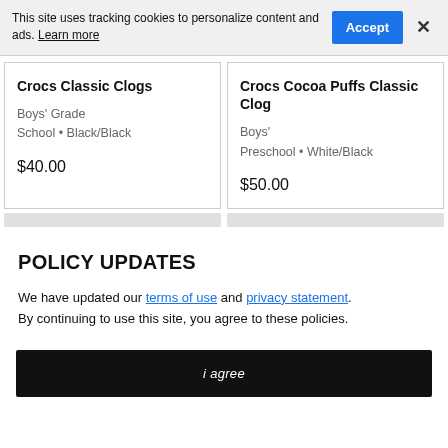This site uses tracking cookies to personalize content and ads. Learn more
Crocs Classic Clogs
Boys' Grade School • Black/Black
$40.00
Crocs Cocoa Puffs Classic Clog
Boys' Preschool • White/Black
$50.00
POLICY UPDATES
We have updated our terms of use and privacy statement. By continuing to use this site, you agree to these policies.
i agree